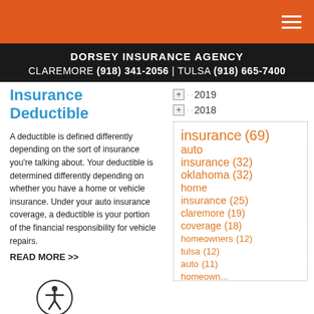DORSEY INSURANCE AGENCY
CLAREMORE (918) 341-2056 | TULSA (918) 665-7400
Insurance Deductible
2019
2018
A deductible is defined differently depending on the sort of insurance you're talking about. Your deductible is determined differently depending on whether you have a home or vehicle insurance. Under your auto insurance coverage, a deductible is your portion of the financial responsibility for vehicle repairs.
READ MORE >>
[Figure (other): Accessibility icon - circular button with person symbol]
insurance (69)
auto insurance (32)
oklahoma (32)
home insurance (25)
claremore (19)
coverage (18)
homeowners (12)
tulsa (12)
auto (11)
homeoowners